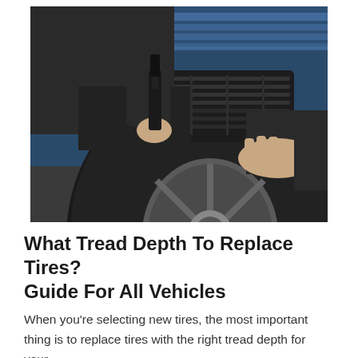[Figure (photo): A mechanic in a dark uniform uses a handheld tire tread depth gauge on a car tire. The tire is black with visible tread grooves. One hand holds the measuring tool at the top of the tire, and the other hand rests on the side of the tire. A blue tool cabinet is visible in the background.]
What Tread Depth To Replace Tires? Guide For All Vehicles
When you're selecting new tires, the most important thing is to replace tires with the right tread depth for your